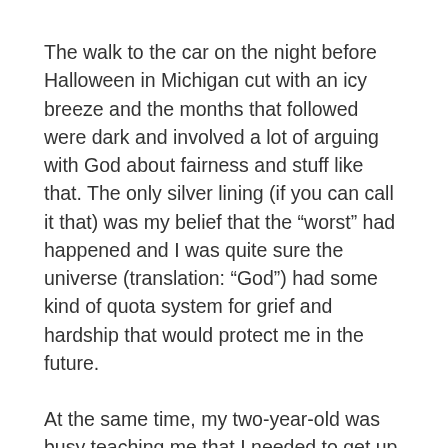The walk to the car on the night before Halloween in Michigan cut with an icy breeze and the months that followed were dark and involved a lot of arguing with God about fairness and stuff like that. The only silver lining (if you can call it that) was my belief that the “worst” had happened and I was quite sure the universe (translation: “God”) had some kind of quota system for grief and hardship that would protect me in the future.
At the same time, my two-year-old was busy teaching me that I needed to get up every day, put on pants and drink coffee.  Truth was I think he is the one who kept me alive by connecting me with life...even messy life with an energetic toddler, during a period that it was very tempting to take up residence in the corner of Darrin’s nursery and let go of unnecessary activities like eating and showering.